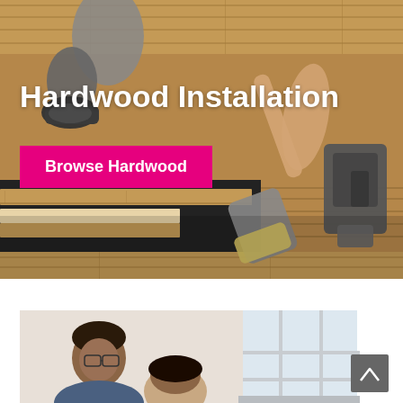[Figure (photo): Overhead view of a person installing hardwood flooring, using a mallet and a flooring nailer, with wood planks and black underlayment visible]
Hardwood Installation
Browse Hardwood
[Figure (photo): Two people (a man and a woman) looking at flooring samples or discussing home renovation in a bright room with windows]